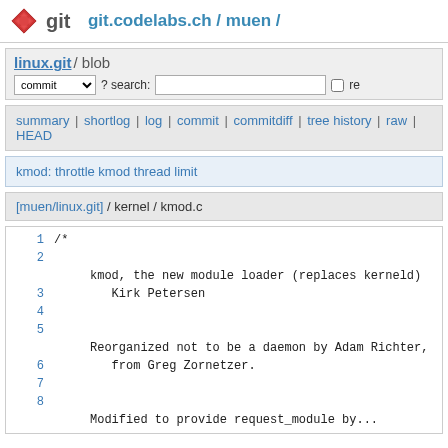git  git.codelabs.ch / muen /
linux.git / blob
commit  ? search:  re
summary | shortlog | log | commit | commitdiff | tree history | raw | HEAD
kmod: throttle kmod thread limit
[muen/linux.git] / kernel / kmod.c
1  /*
2
   kmod, the new module loader (replaces kerneld)
3       Kirk Petersen
4
5
   Reorganized not to be a daemon by Adam Richter,
6       from Greg Zornetzer.
7
8
   Modified to provide request_module by...